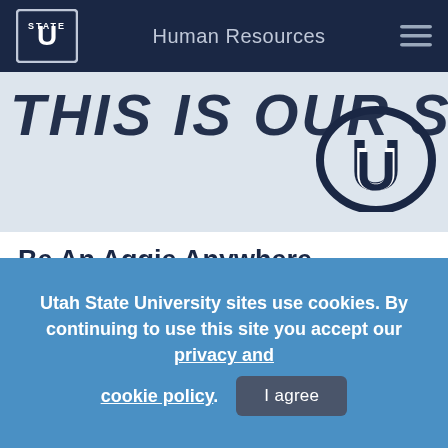Human Resources
[Figure (screenshot): Utah State University website banner with large italic bold text 'THIS IS OUR STATE' partially visible and USU logo on the right on a light blue/grey background]
Be An Aggie Anywhere
With 33 Statewide Campuses and centers, 3 residential campuses, and Extension offices in nearly every county, our impact reaches the entire state.
Utah State University sites use cookies. By continuing to use this site you accept our privacy and cookie policy.